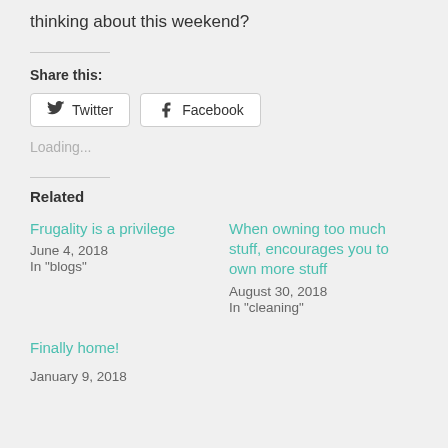thinking about this weekend?
Share this:
Twitter
Facebook
Loading...
Related
Frugality is a privilege
June 4, 2018
In "blogs"
When owning too much stuff, encourages you to own more stuff
August 30, 2018
In "cleaning"
Finally home!
January 9, 2018